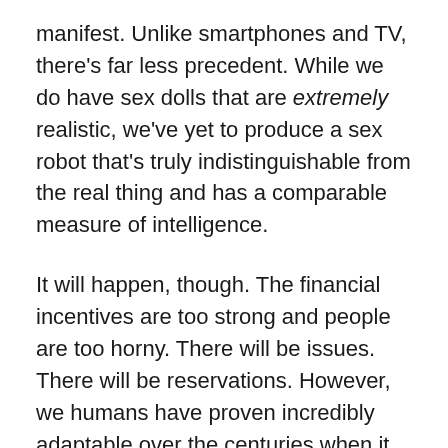manifest. Unlike smartphones and TV, there's far less precedent. While we do have sex dolls that are extremely realistic, we've yet to produce a sex robot that's truly indistinguishable from the real thing and has a comparable measure of intelligence.
It will happen, though. The financial incentives are too strong and people are too horny. There will be issues. There will be reservations. However, we humans have proven incredibly adaptable over the centuries when it comes to bold new technology.
We adapted to cars and planes. We adapted to vaccines and contraception. We adapted to sexting and internet porn. We'll find a way to adapt to sex robots. When people are that horny, they'll find a way. It's a beautiful, sexy thing that brings tears of joy to an erotica/romance writer's eye.